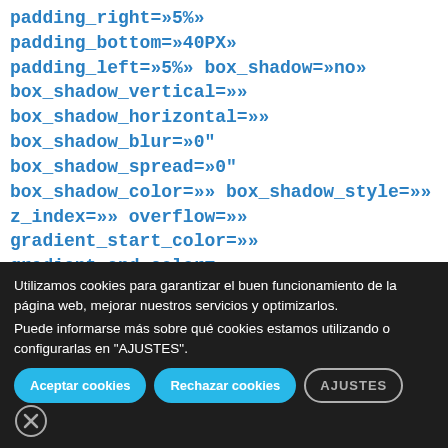padding_right=»5%» padding_bottom=»40PX»
padding_left=»5%» box_shadow=»no»
box_shadow_vertical=»»
box_shadow_horizontal=»»
box_shadow_blur=»0"
box_shadow_spread=»0"
box_shadow_color=»» box_shadow_style=»»
z_index=»» overflow=»»
gradient_start_color=»»
gradient_end_color=»»
Utilizamos cookies para garantizar el buen funcionamiento de la página web, mejorar nuestros servicios y optimizarlos.
Puede informarse más sobre qué cookies estamos utilizando o configurarlas en "AJUSTES".